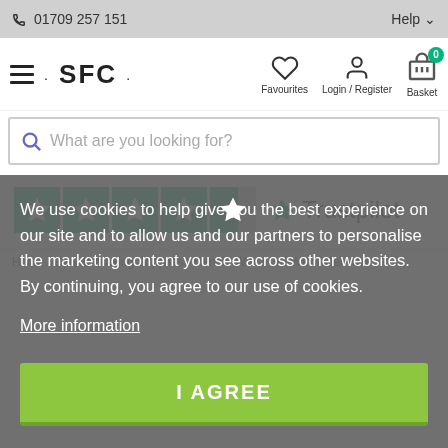☎ 01709 257 151   Help
[Figure (logo): SFC website navigation bar with hamburger menu, SFC brand logo, Favourites heart icon, Login/Register person icon, and Basket icon with 0 badge]
[Figure (screenshot): Search bar with magnifying glass icon and placeholder text 'What are you looking for?']
[Figure (logo): Trustpilot rating showing 4.5 stars (green) and Trustpilot logo]
Home / Candle Making Supplies / Candle Wax / Gel Wax / Gel Wax
We use cookies to help give you the best experience on our site and to allow us and our partners to personalise the marketing content you see across other websites. By continuing, you agree to our use of cookies.
More information
I AGREE